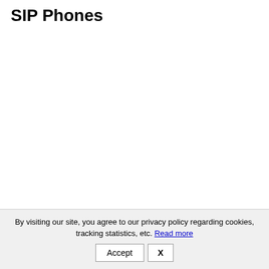SIP Phones
By visiting our site, you agree to our privacy policy regarding cookies, tracking statistics, etc. Read more
Accept  X